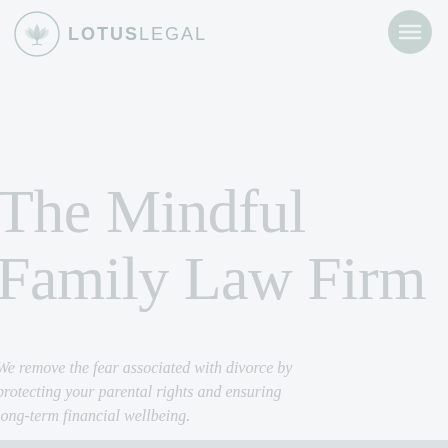[Figure (logo): Lotus Legal logo: circular lotus flower icon and text LOTUS LEGAL in light teal/grey]
[Figure (other): Hamburger menu button (three horizontal lines) in a light teal circular button]
The Mindful Family Law Firm
We remove the fear associated with divorce by protecting your parental rights and ensuring long-term financial wellbeing.